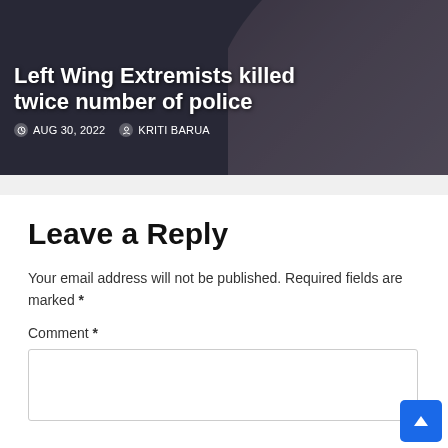[Figure (photo): News article card with background photo of police officers; article title 'Left Wing Extremists killed twice number of police' with date AUG 30, 2022 and author KRITI BARUA]
Leave a Reply
Your email address will not be published. Required fields are marked *
Comment *